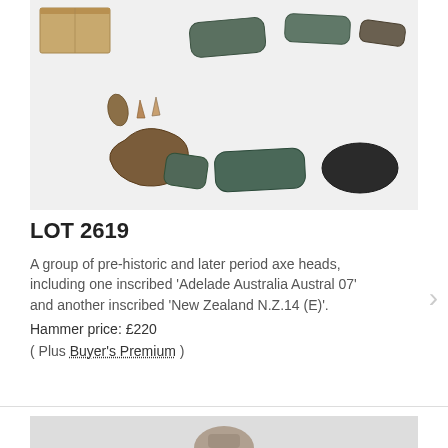[Figure (photo): A group of pre-historic and later period axe heads and stone tools arranged on a white background, with a small cardboard box in the upper left corner. Items include several smooth dark greenstone/argillite adzes, a few small flint arrowheads, and a larger brown stone nodule.]
LOT 2619
A group of pre-historic and later period axe heads, including one inscribed 'Adelade Australia Austral 07' and another inscribed 'New Zealand N.Z.14 (E)'.
Hammer price: £220
( Plus Buyer's Premium )
[Figure (photo): Bottom portion of another lot image, partially visible — appears to show a figurine or statue on a light background.]